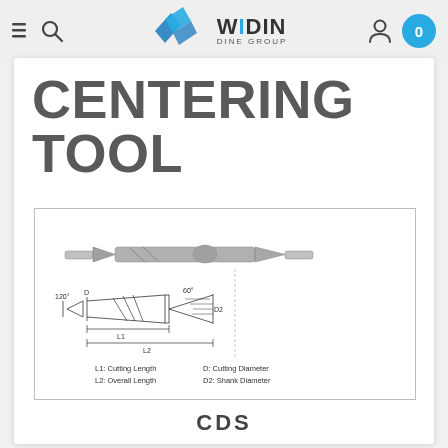[Figure (logo): WIDIN DINE GROUP logo with blue geometric shapes]
CENTERING TOOL
[Figure (engineering-diagram): Technical drawing of a centering tool (CDS) showing side profile photo and dimension diagram with angles 120° and 60°, labels L1: Cutting Length, L2: Overall Length, D: Cutting Diameter, D2: Shank Diameter]
CDS